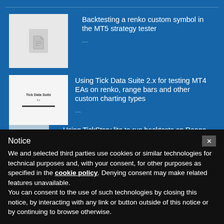[Figure (screenshot): Article thumbnail: document icon on grey background]
Backtesting a renko custom symbol in the MT5 strategy tester
...
[Figure (screenshot): Article thumbnail: Tick Data Suite branding on white background]
Using Tick Data Suite 2.x for testing MT4 EAs on renko, range bars and other custom charting types
...
[Figure (screenshot): Article thumbnail: partial image on blue background]
Using TickStory lite to run backtests on Range,
Notice
We and selected third parties use cookies or similar technologies for technical purposes and, with your consent, for other purposes as specified in the cookie policy. Denying consent may make related features unavailable.
You can consent to the use of such technologies by closing this notice, by interacting with any link or button outside of this notice or by continuing to browse otherwise.